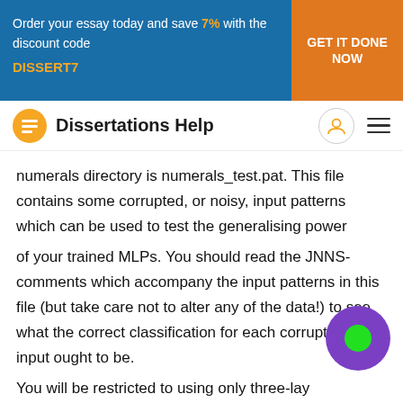Order your essay today and save 7% with the discount code DISSERT7 | GET IT DONE NOW
[Figure (logo): Dissertations Help logo with orange icon and text]
numerals directory is numerals_test.pat. This file contains some corrupted, or noisy, input patterns which can be used to test the generalising power of your trained MLPs. You should read the JNNS-comments which accompany the input patterns in this file (but take care not to alter any of the data!) to see what the correct classification for each corrupted/noisy input ought to be. You will be restricted to using only three-layer MLPs for this part of the assignment. So the only feature of the network topology that you can vary